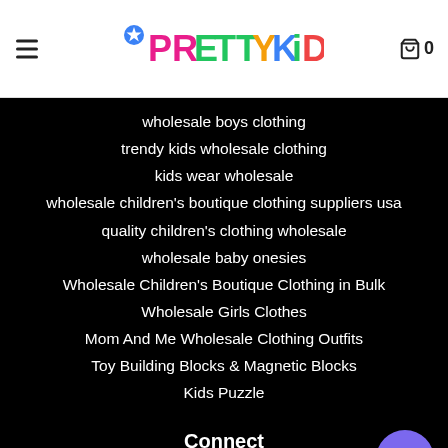[Figure (logo): PrettyKid colorful logo with star icon]
wholesale boys clothing
trendy kids wholesale clothing
kids wear wholesale
wholesale children's boutique clothing suppliers usa
quality children's clothing wholesale
wholesale baby onesies
Wholesale Children's Boutique Clothing in Bulk
Wholesale Girls Clothes
Mom And Me Wholesale Clothing Outfits
Toy Building Blocks & Magnetic Blocks
Kids Puzzle
Connect
Sign up for the latest news, offers and styles